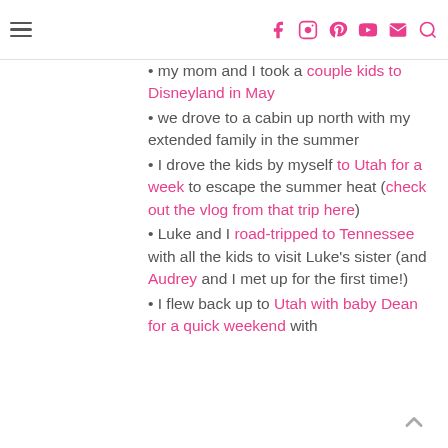Navigation header with hamburger menu and social icons (facebook, instagram, pinterest, youtube, email, search)
my mom and I took a couple kids to Disneyland in May
we drove to a cabin up north with my extended family in the summer
I drove the kids by myself to Utah for a week to escape the summer heat (check out the vlog from that trip here)
Luke and I road-tripped to Tennessee with all the kids to visit Luke's sister (and Audrey and I met up for the first time!)
I flew back up to Utah with baby Dean for a quick weekend with